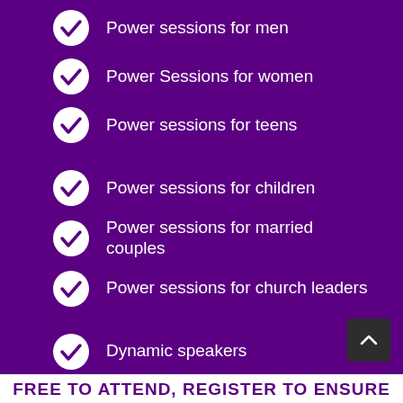Power sessions for men
Power Sessions for women
Power sessions for teens
Power sessions for children
Power sessions for married couples
Power sessions for church leaders
Dynamic speakers
Continental breakfast provided
Lunch will be provided
FREE TO ATTEND, REGISTER TO ENSURE